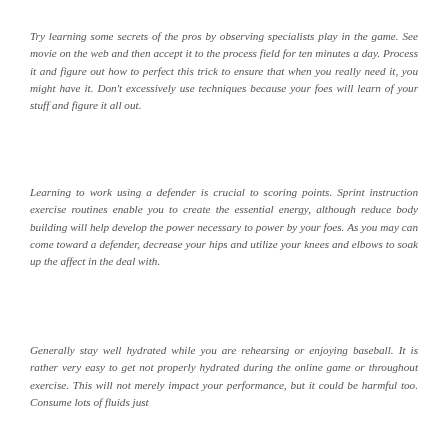Try learning some secrets of the pros by observing specialists play in the game. See movie on the web and then accept it to the process field for ten minutes a day. Process it and figure out how to perfect this trick to ensure that when you really need it, you might have it. Don't excessively use techniques because your foes will learn of your stuff and figure it all out.
Learning to work using a defender is crucial to scoring points. Sprint instruction exercise routines enable you to create the essential energy, although reduce body building will help develop the power necessary to power by your foes. As you may can come toward a defender, decrease your hips and utilize your knees and elbows to soak up the affect in the deal with.
Generally stay well hydrated while you are rehearsing or enjoying baseball. It is rather very easy to get not properly hydrated during the online game or throughout exercise. This will not merely impact your performance, but it could be harmful too. Consume lots of fluids just